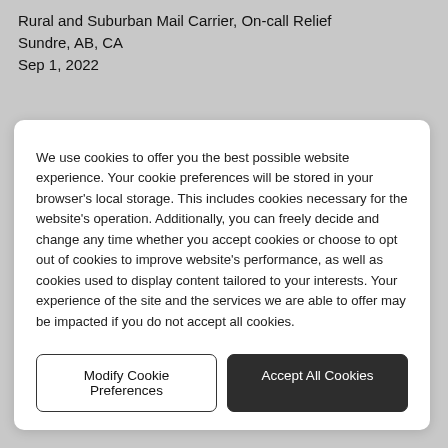Rural and Suburban Mail Carrier, On-call Relief
Sundre, AB, CA
Sep 1, 2022
We use cookies to offer you the best possible website experience. Your cookie preferences will be stored in your browser's local storage. This includes cookies necessary for the website's operation. Additionally, you can freely decide and change any time whether you accept cookies or choose to opt out of cookies to improve website's performance, as well as cookies used to display content tailored to your interests. Your experience of the site and the services we are able to offer may be impacted if you do not accept all cookies.
Modify Cookie Preferences
Accept All Cookies